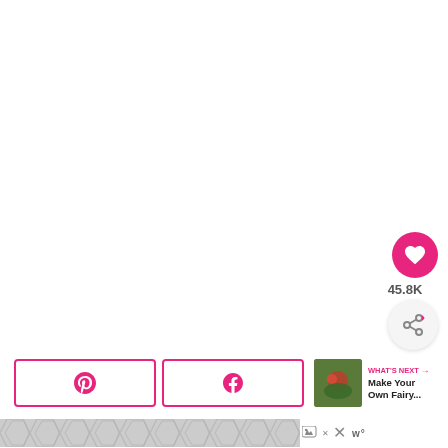[Figure (screenshot): White blank upper area of a web page]
[Figure (infographic): Pink circular heart/save button with 45.8K like count and a share button below it on right side]
[Figure (infographic): Three social sharing buttons: Pinterest (P icon), Facebook (f icon), and a What's Next panel showing 'Make Your Own Fairy...' with thumbnail]
[Figure (infographic): Ad banner at bottom with geometric chevron/hexagon pattern, close X button, and a wordmark logo]